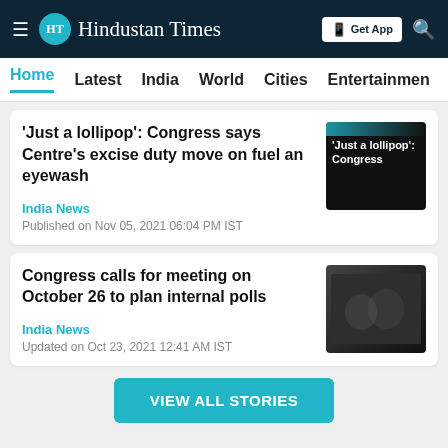HT Hindustan Times — Get App
Home | Latest | India | World | Cities | Entertainment
'Just a lollipop': Congress says Centre's excise duty move on fuel an eyewash
India News
Published on Nov 05, 2021 06:04 PM IST
Congress calls for meeting on October 26 to plan internal polls
India News
Updated on Oct 23, 2021 12:41 AM IST
VIEW ALL STORIES